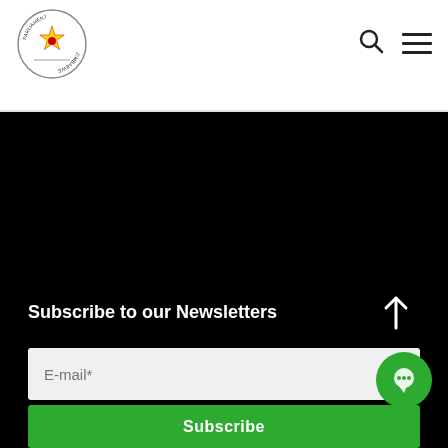[Figure (logo): Parliament of Zimbabwe circular logo with star emblem]
[Figure (other): Search icon (magnifying glass) and hamburger menu icon in header]
[Figure (photo): Large black area, likely a video or image placeholder]
Subscribe to our Newsletters
[Figure (other): Upward arrow icon (scroll to top)]
[Figure (other): Email input field with placeholder 'E-mail*']
[Figure (other): Green chat bubble icon button]
Subscribe